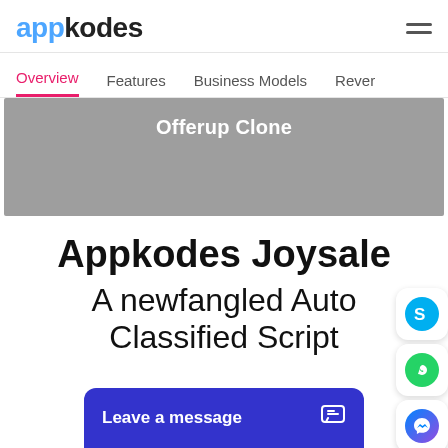appkodes
Overview  Features  Business Models  Rever
[Figure (screenshot): Gray banner image with text 'Offerup Clone']
Appkodes Joysale
A newfangled Auto Classified Script
Leave a message